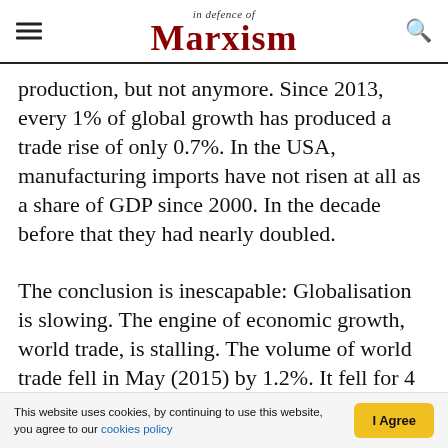In Defence of Marxism
production, but not anymore. Since 2013, every 1% of global growth has produced a trade rise of only 0.7%. In the USA, manufacturing imports have not risen at all as a share of GDP since 2000. In the decade before that they had nearly doubled.
The conclusion is inescapable: Globalisation is slowing. The engine of economic growth, world trade, is stalling. The volume of world trade fell in May (2015) by 1.2%. It fell for 4 out of the first 5 months of 2015. The Doha Round of talks has been going on for 14 years and has effectively been abandoned. The US is introducing...
This website uses cookies, by continuing to use this website, you agree to our cookies policy  I Agree